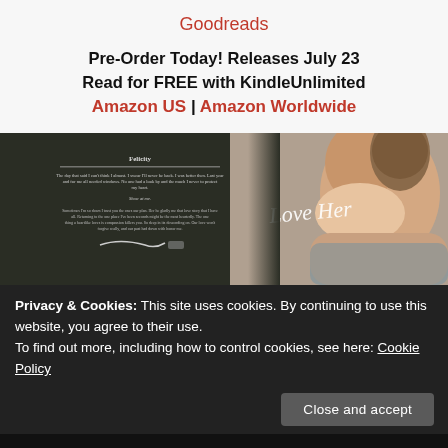Goodreads
Pre-Order Today! Releases July 23
Read for FREE with KindleUnlimited
Amazon US | Amazon Worldwide
[Figure (photo): Book cover image for 'Love Her' showing a romantic couple — a woman leaning back and a man leaning in close, on a dark background with cursive text 'Love Her'. Left side shows a partial view of the book's interior page with text.]
Privacy & Cookies: This site uses cookies. By continuing to use this website, you agree to their use.
To find out more, including how to control cookies, see here: Cookie Policy
Close and accept